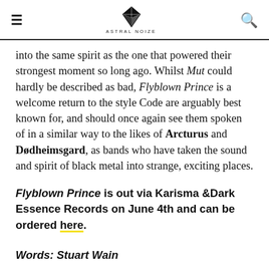ASTRAL NOIZE
into the same spirit as the one that powered their strongest moment so long ago. Whilst Mut could hardly be described as bad, Flyblown Prince is a welcome return to the style Code are arguably best known for, and should once again see them spoken of in a similar way to the likes of Arcturus and Dødheimsgard, as bands who have taken the sound and spirit of black metal into strange, exciting places.
Flyblown Prince is out via Karisma &Dark Essence Records on June 4th and can be ordered here.
Words: Stuart Wain